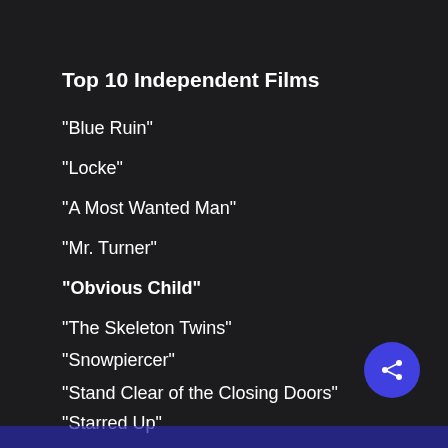Top 10 Independent Films
"Blue Ruin"
"Locke"
"A Most Wanted Man"
"Mr. Turner"
"Obvious Child"
"The Skeleton Twins"
"Snowpiercer"
"Stand Clear of the Closing Doors"
"Starred Up"
"Still Alice"